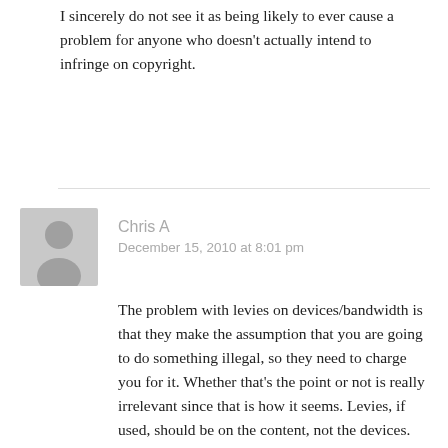I sincerely do not see it as being likely to ever cause a problem for anyone who doesn't actually intend to infringe on copyright.
[Figure (illustration): Gray avatar/placeholder user icon — silhouette of a person on light gray background]
Chris A
December 15, 2010 at 8:01 pm
The problem with levies on devices/bandwidth is that they make the assumption that you are going to do something illegal, so they need to charge you for it. Whether that's the point or not is really irrelevant since that is how it seems. Levies, if used, should be on the content, not the devices. That way people who are actually buying the content are paying, and then it can do strait to the artist who's work you bought.
Of course, leveis really seem like a poor excuse for the government not to have to support